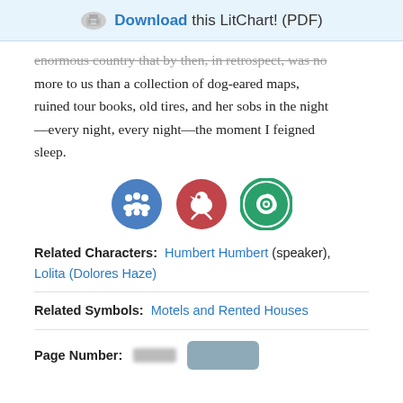Download this LitChart! (PDF)
enormous country that by then, in retrospect, was no more to us than a collection of dog-eared maps, ruined tour books, old tires, and her sobs in the night—every night, every night—the moment I feigned sleep.
[Figure (illustration): Three circular icon badges: blue with people/crowd icon, red with bird/animal icon, green with eye/spiral icon]
Related Characters: Humbert Humbert (speaker), Lolita (Dolores Haze)
Related Symbols: Motels and Rented Houses
Page Number: